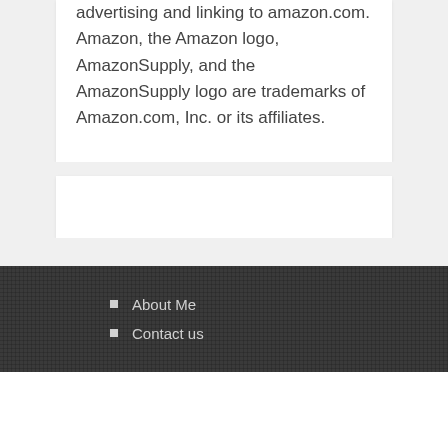advertising and linking to amazon.com. Amazon, the Amazon logo, AmazonSupply, and the AmazonSupply logo are trademarks of Amazon.com, Inc. or its affiliates.
About Me
Contact us